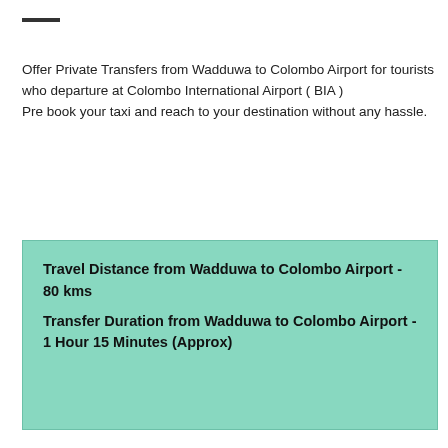—
Offer Private Transfers from Wadduwa to Colombo Airport for tourists who departure at Colombo International Airport ( BIA )
Pre book your taxi and reach to your destination without any hassle.
Travel Distance from Wadduwa to Colombo Airport - 80 kms
Transfer Duration from Wadduwa to Colombo Airport - 1 Hour 15 Minutes (Approx)